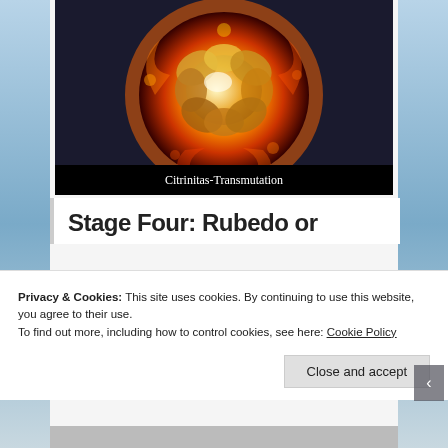[Figure (illustration): A fiery rose made of golden flame and fire against a dark background, labeled 'Citrinitas-Transmutation']
Citrinitas-Transmutation
Stage Four: Rubedo or
Privacy & Cookies: This site uses cookies. By continuing to use this website, you agree to their use.
To find out more, including how to control cookies, see here: Cookie Policy
Close and accept